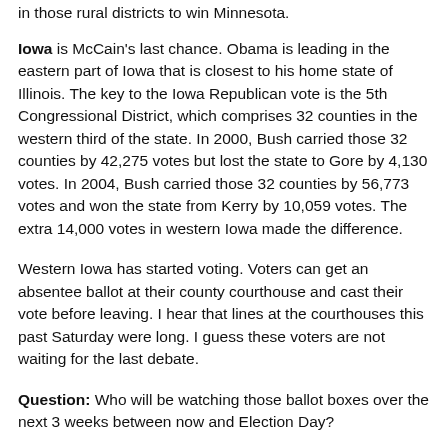in those rural districts to win Minnesota.
Iowa is McCain's last chance. Obama is leading in the eastern part of Iowa that is closest to his home state of Illinois. The key to the Iowa Republican vote is the 5th Congressional District, which comprises 32 counties in the western third of the state. In 2000, Bush carried those 32 counties by 42,275 votes but lost the state to Gore by 4,130 votes. In 2004, Bush carried those 32 counties by 56,773 votes and won the state from Kerry by 10,059 votes. The extra 14,000 votes in western Iowa made the difference.
Western Iowa has started voting. Voters can get an absentee ballot at their county courthouse and cast their vote before leaving. I hear that lines at the courthouses this past Saturday were long. I guess these voters are not waiting for the last debate.
Question: Who will be watching those ballot boxes over the next 3 weeks between now and Election Day?
Answer: In Iowa that job falls on the County Auditor. These local elected officials are typically middle-aged Republicans